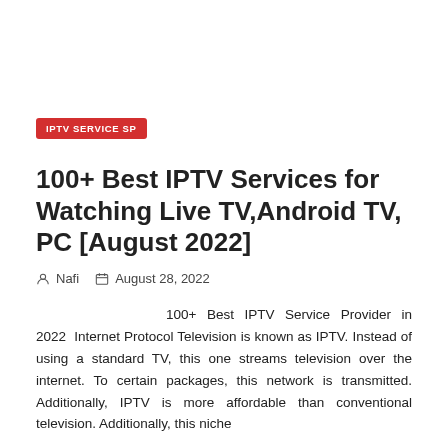IPTV SERVICE SP
100+ Best IPTV Services for Watching Live TV,Android TV, PC [August 2022]
Nafi  August 28, 2022
100+ Best IPTV Service Provider in 2022  Internet Protocol Television is known as IPTV. Instead of using a standard TV, this one streams television over the internet. To certain packages, this network is transmitted. Additionally, IPTV is more affordable than conventional television. Additionally, this niche